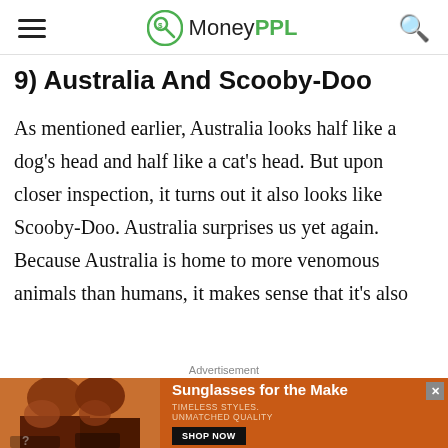MoneyPPL
9) Australia And Scooby-Doo
As mentioned earlier, Australia looks half like a dog's head and half like a cat's head. But upon closer inspection, it turns out it also looks like Scooby-Doo. Australia surprises us yet again. Because Australia is home to more venomous animals than humans, it makes sense that it's also
[Figure (other): Advertisement banner for sunglasses featuring two women wearing sunglasses on an orange background with text 'Sunglasses for the Make', 'TIMELESS STYLES. UNMATCHED QUALITY', and a 'SHOP NOW' button]